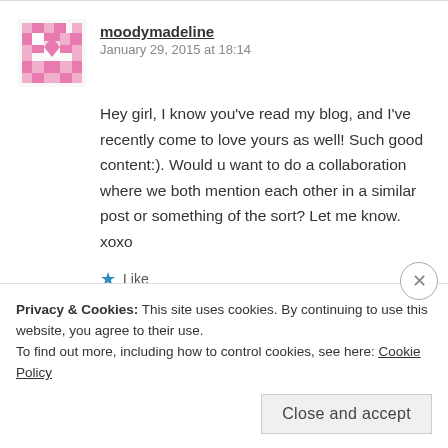[Figure (illustration): Pink pixel/geometric avatar icon for user moodymadeline]
moodymadeline
January 29, 2015 at 18:14
Hey girl, I know you've read my blog, and I've recently come to love yours as well! Such good content:). Would u want to do a collaboration where we both mention each other in a similar post or something of the sort? Let me know. xoxo
Like
REPLY
Privacy & Cookies: This site uses cookies. By continuing to use this website, you agree to their use.
To find out more, including how to control cookies, see here: Cookie Policy
Close and accept